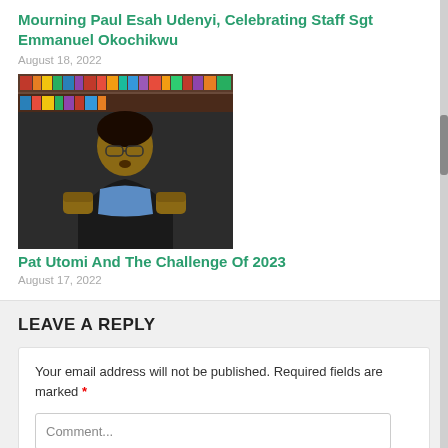Mourning Paul Esah Udenyi, Celebrating Staff Sgt Emmanuel Okochikwu
August 18, 2022
[Figure (photo): Man in blue shirt and black jacket gesturing with both fists raised, seated in front of bookshelves]
Pat Utomi And The Challenge Of 2023
August 17, 2022
LEAVE A REPLY
Your email address will not be published. Required fields are marked *
Comment...